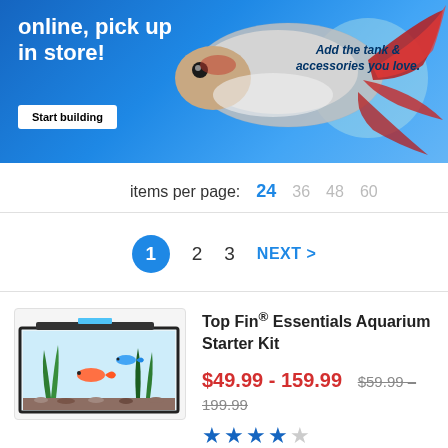[Figure (photo): Promotional banner with blue background, betta fish, and text: 'online, pick up in store!' with a 'Start building' button and tagline 'Add the tank & accessories you love.']
items per page: 24  36  48  60
1  2  3  NEXT >
[Figure (photo): Photo of Top Fin Essentials Aquarium Starter Kit — a rectangular fish tank with aquatic plants and fish visible inside.]
Top Fin® Essentials Aquarium Starter Kit
$49.99 - 159.99  $59.99 - 199.99
★★★★☆
Free Same-Day Delivery!